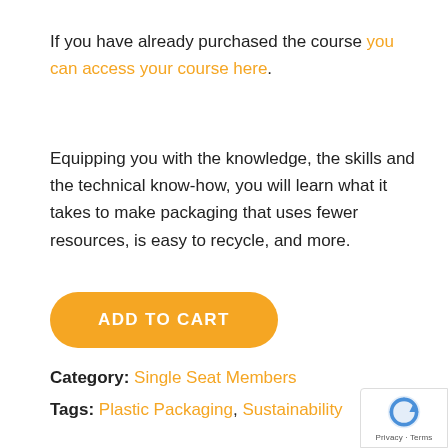If you have already purchased the course you can access your course here.
Equipping you with the knowledge, the skills and the technical know-how, you will learn what it takes to make packaging that uses fewer resources, is easy to recycle, and more.
ADD TO CART
Category: Single Seat Members
Tags: Plastic Packaging, Sustainability